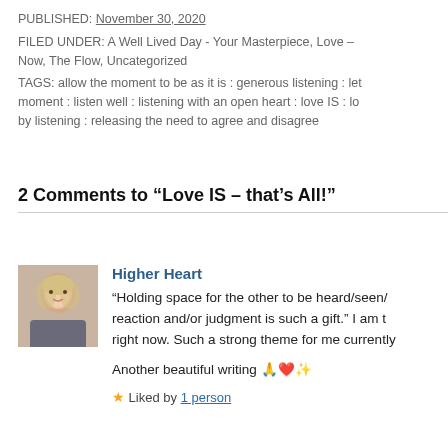PUBLISHED: November 30, 2020
FILED UNDER: A Well Lived Day - Your Masterpiece, Love Now, The Flow, Uncategorized
TAGS: allow the moment to be as it is : generous listening : let moment : listen well : listening with an open heart : love IS : lo by listening : releasing the need to agree and disagree
2 Comments to “Love IS – that’s All!”
Higher Heart
“Holding space for the other to be heard/seen/… reaction and/or judgment is such a gift.” I am … right now. Such a strong theme for me currently…
Another beautiful writing 🙏❤️✨
★ Liked by 1 person